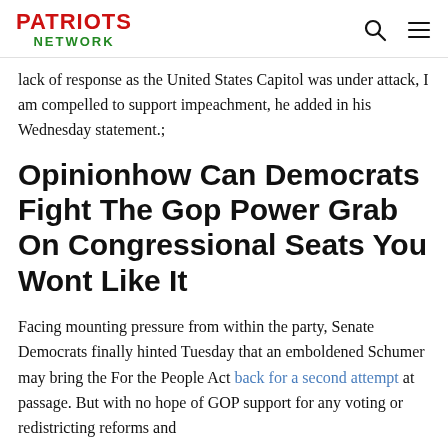PATRIOTS NETWORK
lack of response as the United States Capitol was under attack, I am compelled to support impeachment, he added in his Wednesday statement.;
Opinionhow Can Democrats Fight The Gop Power Grab On Congressional Seats You Wont Like It
Facing mounting pressure from within the party, Senate Democrats finally hinted Tuesday that an emboldened Schumer may bring the For the People Act back for a second attempt at passage. But with no hope of GOP support for any voting or redistricting reforms and